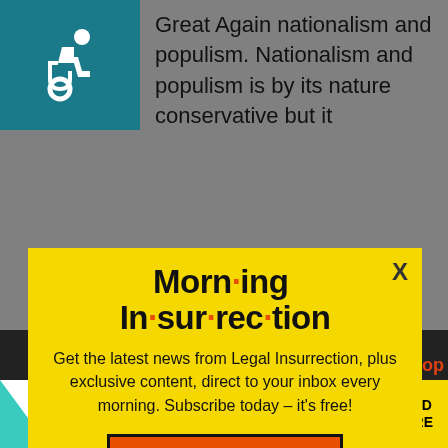[Figure (illustration): Wheelchair accessibility icon in white on teal/dark green background]
Great Again nationalism and populism. Nationalism and populism is by its nature conservative but it
[Figure (infographic): Morning Insurrection newsletter signup modal popup with yellow background. Title: 'Morning Insurrection' with orange dots. Body text: 'Get the latest news from Legal Insurrection, plus exclusive content, direct to your inbox every morning. Subscribe today - it's free!' Orange JOIN NOW button with envelope icon. X close button in top right.]
natio...st-populism that
[Figure (infographic): The Perspective advertisement banner: 'SEE WHAT YOU'RE MISSING' with READ MORE button on yellow background]